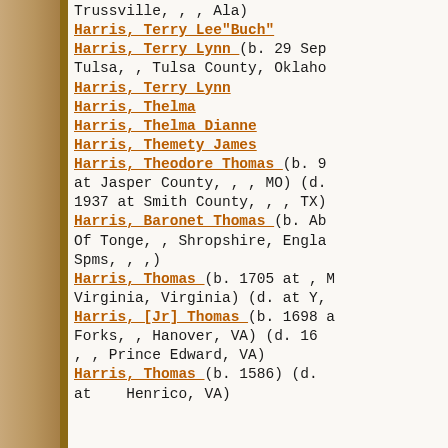Trussville, , , Ala)
Harris, Terry Lee"Buch"
Harris, Terry Lynn (b. 29 Sep Tulsa, , Tulsa County, Oklaho
Harris, Terry Lynn
Harris, Thelma
Harris, Thelma Dianne
Harris, Themety James
Harris, Theodore Thomas (b. 9 at Jasper County, , , MO) (d. 1937 at Smith County, , , TX)
Harris, Baronet Thomas (b. Ab Of Tonge, , Shropshire, Engla Spms, , ,)
Harris, Thomas (b. 1705 at , Virginia, Virginia) (d. at Y,
Harris, [Jr] Thomas (b. 1698 Forks, , Hanover, VA) (d. 16 , , Prince Edward, VA)
Harris, Thomas (b. 1586) (d. at Henrico, VA)